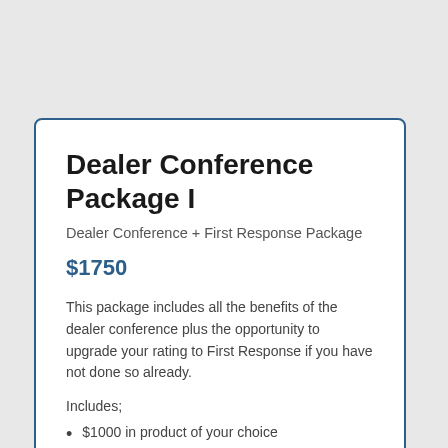Dealer Conference Package I
Dealer Conference + First Response Package
$1750
This package includes all the benefits of the dealer conference plus the opportunity to upgrade your rating to First Response if you have not done so already.
Includes;
$1000 in product of your choice
3 Nights hotel